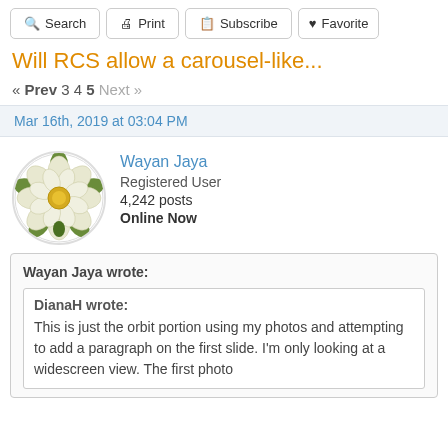[Figure (other): Toolbar with Search, Print, Subscribe, Favorite buttons]
Will RCS allow a carousel-like...
« Prev 3 4 5 Next »
Mar 16th, 2019 at 03:04 PM
[Figure (illustration): Circular avatar with Yorkshire rose emblem (white and gold flower with green leaves)]
Wayan Jaya
Registered User
4,242 posts
Online Now
Wayan Jaya wrote:
DianaH wrote:
This is just the orbit portion using my photos and attempting to add a paragraph on the first slide. I'm only looking at a widescreen view. The first photo